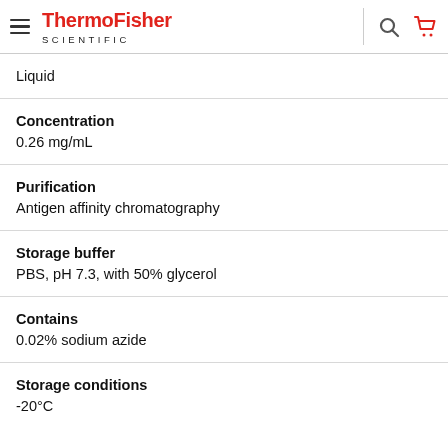ThermoFisher SCIENTIFIC
Liquid
Concentration
0.26 mg/mL
Purification
Antigen affinity chromatography
Storage buffer
PBS, pH 7.3, with 50% glycerol
Contains
0.02% sodium azide
Storage conditions
-20°C